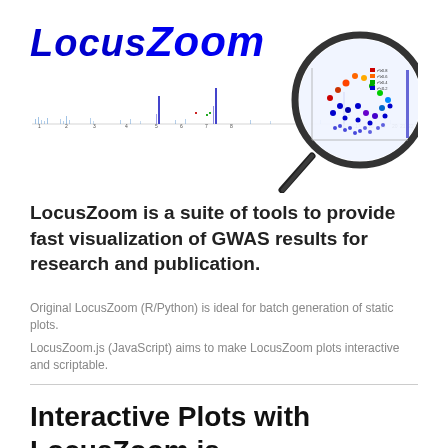[Figure (screenshot): LocusZoom logo with italic bold blue text 'LocusZoom', a GWAS Manhattan plot strip across the bottom showing chromosomes 1-22 with colored peaks, and a magnifying glass zooming into a region of the plot showing colored scatter dots]
LocusZoom is a suite of tools to provide fast visualization of GWAS results for research and publication.
Original LocusZoom (R/Python) is ideal for batch generation of static plots.
LocusZoom.js (JavaScript) aims to make LocusZoom plots interactive and scriptable.
Interactive Plots with LocusZoom.js